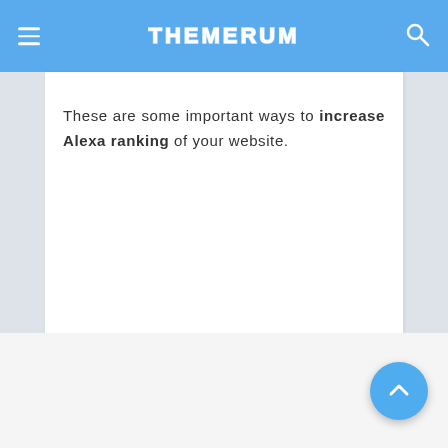THEMERUM
These are some important ways to increase Alexa ranking of your website.